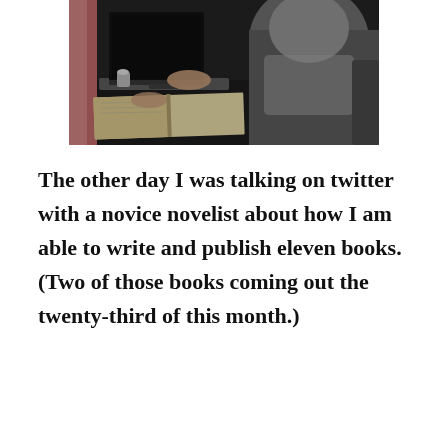[Figure (photo): A person sitting and typing on a laptop with an open book/notebook in a room. The scene is partially backlit from a window on the right side.]
The other day I was talking on twitter with a novice novelist about how I am able to write and publish eleven books. (Two of those books coming out the twenty-third of this month.)